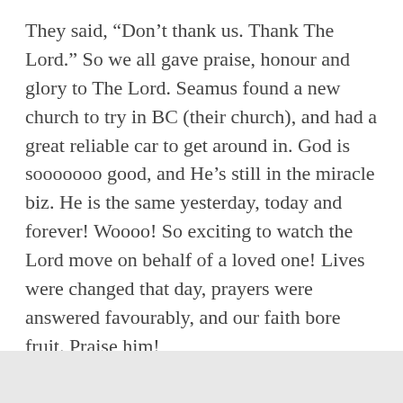They said, “Don’t thank us. Thank The Lord.” So we all gave praise, honour and glory to The Lord. Seamus found a new church to try in BC (their church), and had a great reliable car to get around in. God is sooooooo good, and He’s still in the miracle biz. He is the same yesterday, today and forever! Woooo! So exciting to watch the Lord move on behalf of a loved one! Lives were changed that day, prayers were answered favourably, and our faith bore fruit. Praise him!
★ Loading...